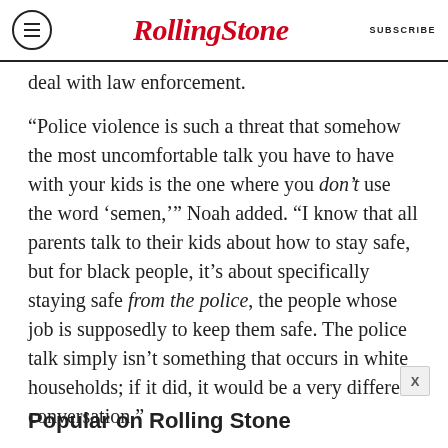Rolling Stone  SUBSCRIBE
deal with law enforcement.
“Police violence is such a threat that somehow the most uncomfortable talk you have to have with your kids is the one where you don’t use the word ‘semen,’” Noah added. “I know that all parents talk to their kids about how to stay safe, but for black people, it’s about specifically staying safe from the police, the people whose job is supposedly to keep them safe. The police talk simply isn’t something that occurs in white households; if it did, it would be a very different conversation.”
Popular on Rolling Stone